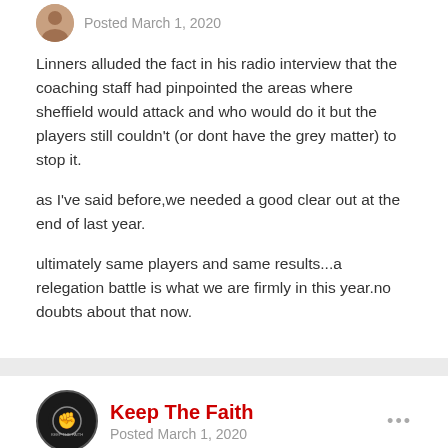Posted March 1, 2020
Linners alluded the fact in his radio interview that the coaching staff had pinpointed the areas where sheffield would attack and who would do it but the players still couldn't (or dont have the grey matter) to stop it.
as I've said before,we needed a good clear out at the end of last year.
ultimately same players and same results...a relegation battle is what we are firmly in this year.no doubts about that now.
Keep The Faith
Posted March 1, 2020
On 01/03/2020 at 20:03, il cattivo said:
Linners alluded the fact in his radio interview that the